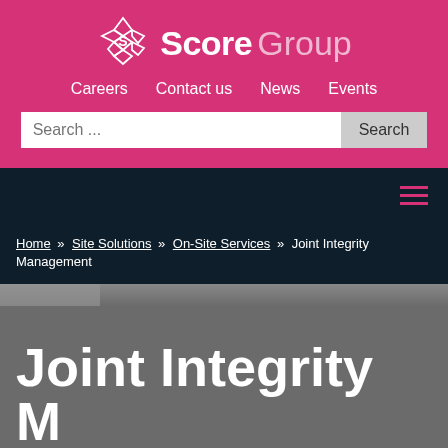[Figure (logo): Score Group logo with diamond/cross icon and text 'Score Group']
Careers | Contact us | News | Events
Search ...
Home » Site Solutions » On-Site Services » Joint Integrity Management
Joint Integrity Management